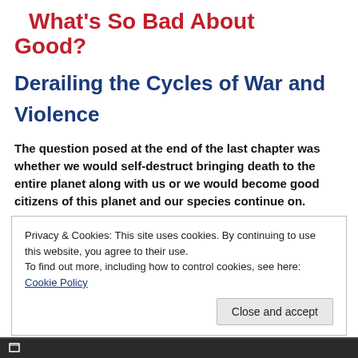What's So Bad About Good?
Derailing the Cycles of War and Violence
The question posed at the end of the last chapter was whether we would self-destruct bringing death to the entire planet along with us or we would become good citizens of this planet and our species continue on.
Privacy & Cookies: This site uses cookies. By continuing to use this website, you agree to their use.
To find out more, including how to control cookies, see here: Cookie Policy
Close and accept